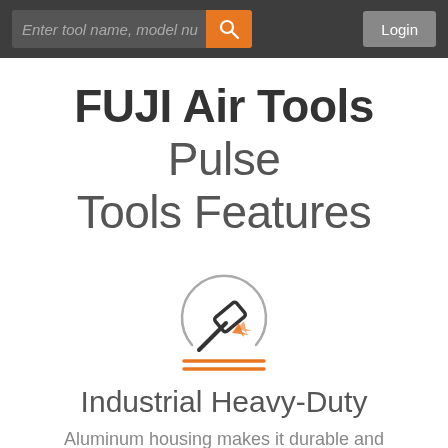Enter tool name, model nu  [search button]  Login
FUJI Air Tools Pulse Tools Features
[Figure (illustration): Icon of a hammer striking with impact sparks, inside a partial circle, with two orange horizontal lines beneath — representing industrial heavy-duty use]
Industrial Heavy-Duty
Aluminum housing makes it durable and lightweight